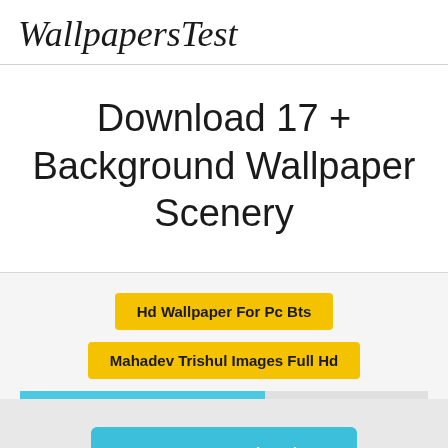WallpapersTest
Download 17 + Background Wallpaper Scenery
Hd Wallpaper For Pc Bts
Mahadev Trishul Images Full Hd
Fast Download